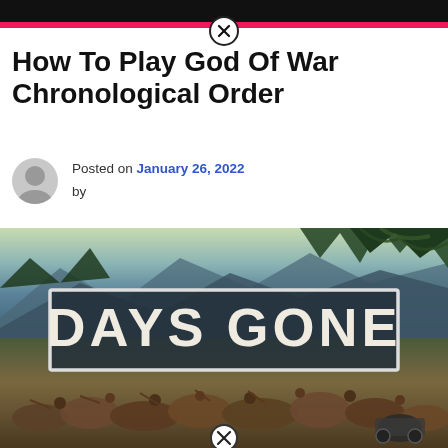How To Play God Of War Chronological Order
Posted on January 26, 2022 by
[Figure (screenshot): Days Gone video game promotional image showing the 'DAYS GONE' logo in a bordered box over a scenic landscape with mountains, trees, and a horde of zombie-like creatures running at the bottom. A dirt bike is visible on the right side.]